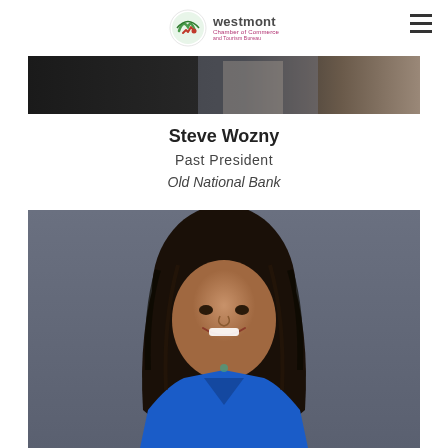Westmont Chamber of Commerce and Tourism Bureau
[Figure (photo): Cropped photo of Steve Wozny, showing lower portion of person in plaid shirt against dark background]
Steve Wozny
Past President
Old National Bank
[Figure (photo): Professional headshot of a woman with long dark hair wearing a bright blue top, smiling, against a gray background]